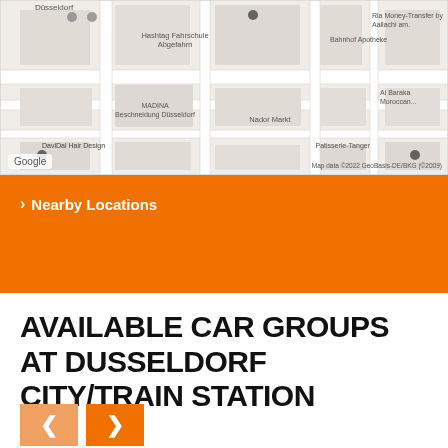[Figure (map): Google Maps screenshot showing Düsseldorf city area near train station, including landmarks like DaviDal Hair Design, Hashtag Fahrschule Abgefahrn, MADINA Beschneidung Düsseldorf, Ria Money-Transfer by Aallachi am., Bahnhof Apotheke, Al Baraka Moroccan, Nador Markt, Patisserie-Tanger. Map data ©2022 GeoBasis-DE/BKG (©2009).]
> Nearby Locations
AVAILABLE CAR GROUPS AT DUSSELDORF CITY/TRAIN STATION